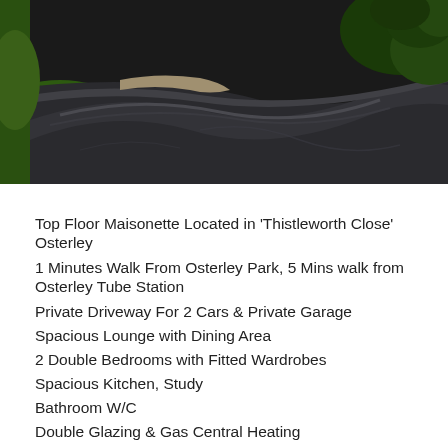[Figure (photo): Aerial or ground-level view of a tarmac driveway with curved edges, green grass lawn areas, and trees/shrubs in the background on a sunny day.]
Top Floor Maisonette Located in 'Thistleworth Close' Osterley
1 Minutes Walk From Osterley Park, 5 Mins walk from Osterley Tube Station
Private Driveway For 2 Cars & Private Garage
Spacious Lounge with Dining Area
2 Double Bedrooms with Fitted Wardrobes
Spacious Kitchen, Study
Bathroom W/C
Double Glazing & Gas Central Heating